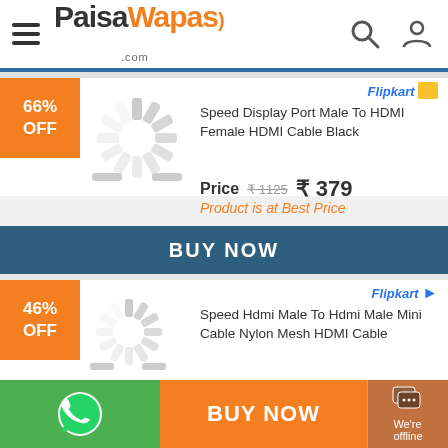PaisaWapas.com
66% OFF
Speed Display Port Male To HDMI Female HDMI Cable Black
Price  ₹1125  ₹379
Product is at Best Price
BUY NOW
46% OFF
Speed Hdmi Male To Hdmi Male Mini Cable Nylon Mesh HDMI Cable
BUY NOW
We're offline